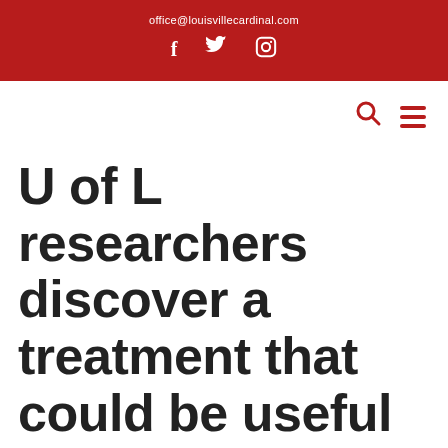office@louisvillecardinal.com
[Figure (other): Social media icons: Facebook (f), Twitter (bird), Instagram (camera) in white on red background]
[Figure (other): Navigation bar with search icon (magnifying glass) and hamburger menu icon in red]
U of L researchers discover a treatment that could be useful against COVID-19